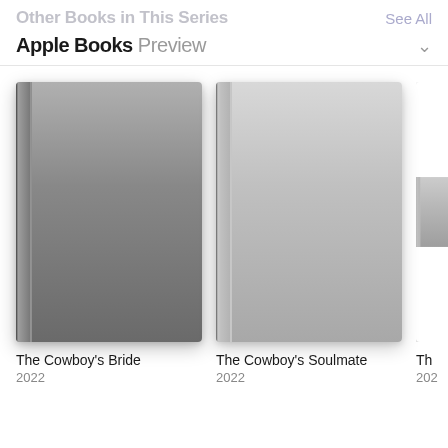Other Books in This Series
See All
Apple Books Preview
[Figure (illustration): Three book covers displayed horizontally. First is a grey/dark gradient book cover. Second is a lighter grey gradient book cover. Third is partially cropped off the right edge. All are plain covers with no imagery.]
The Cowboy's Bride
2022
The Cowboy's Soulmate
2022
Th...
202...